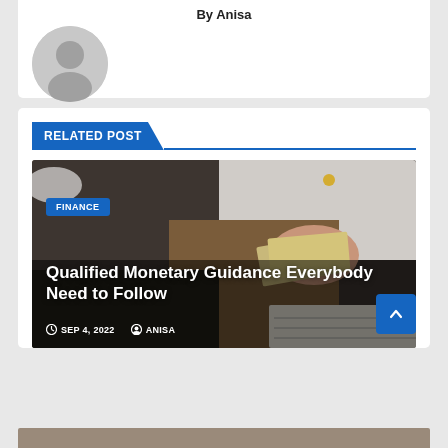By Anisa
RELATED POST
[Figure (photo): Woman counting money/cash at a desk with financial documents]
FINANCE
Qualified Monetary Guidance Everybody Need to Follow
SEP 4, 2022   ANISA